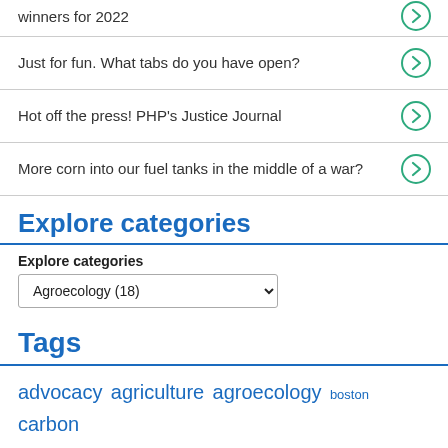winners for 2022
Just for fun. What tabs do you have open?
Hot off the press! PHP's Justice Journal
More corn into our fuel tanks in the middle of a war?
Explore categories
Explore categories
Agroecology (18)
Tags
advocacy agriculture agroecology boston carbon emissions ciw climate climate change climate summit